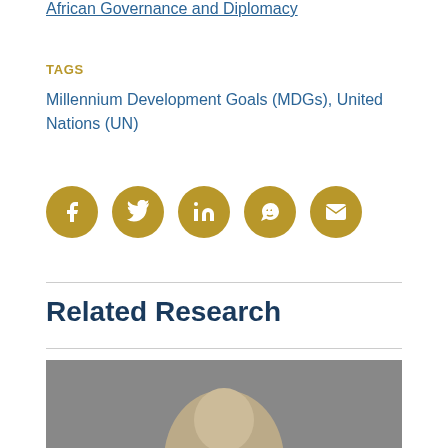African Governance and Diplomacy
TAGS
Millennium Development Goals (MDGs), United Nations (UN)
[Figure (infographic): Five gold circular social media share buttons: Facebook, Twitter, LinkedIn, WhatsApp, Email]
Related Research
[Figure (photo): Partial photo of a person, bottom of page]